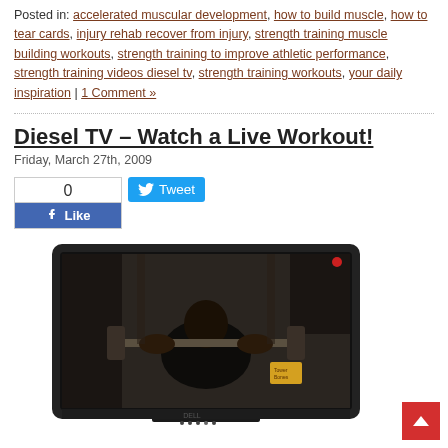Posted in: accelerated muscular development, how to build muscle, how to tear cards, injury rehab recover from injury, strength training muscle building workouts, strength training to improve athletic performance, strength training videos diesel tv, strength training workouts, your daily inspiration | 1 Comment »
Diesel TV – Watch a Live Workout!
Friday, March 27th, 2009
[Figure (screenshot): Facebook Like widget showing 0 likes and a Tweet button]
[Figure (photo): A Dell computer monitor displaying a video of a gym workout, showing a person lifting a barbell in a gym setting]